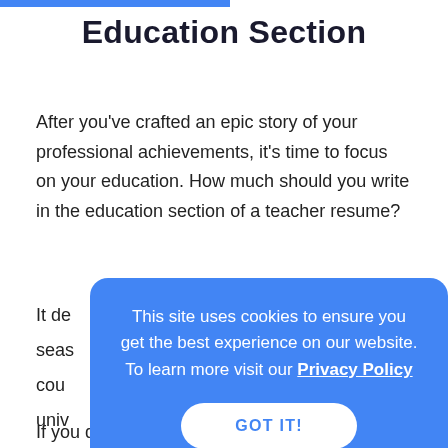Education Section
After you've crafted an epic story of your professional achievements, it's time to focus on your education. How much should you write in the education section of a teacher resume?
It de... seas... cou... univ...
[Figure (screenshot): Cookie consent banner overlay with blue background reading: 'This site uses cookies to ensure you get the best experience on our website. To learn more visit our Privacy Policy' with a 'GOT IT!' button]
If you don't have much experience, write a more elaborate